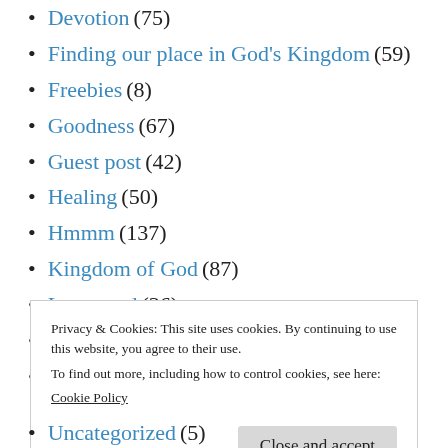Devotion (75)
Finding our place in God's Kingdom (59)
Freebies (8)
Goodness (67)
Guest post (42)
Healing (50)
Hmmm (137)
Kingdom of God (87)
Long read (36)
Magazine article (21)
Making things whole (127)
Privacy & Cookies: This site uses cookies. By continuing to use this website, you agree to their use.
To find out more, including how to control cookies, see here:
Cookie Policy
Close and accept
Uncategorized (5)